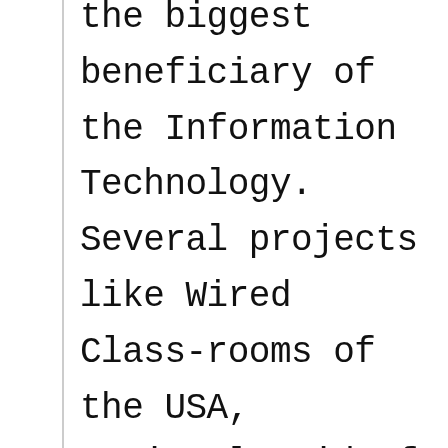the biggest beneficiary of the Information Technology. Several projects like Wired Class-rooms of the USA, National Grid of the U.K., Operation Knowledge of India, are already under way, to bring internet to the actual class-rooms of every village in every